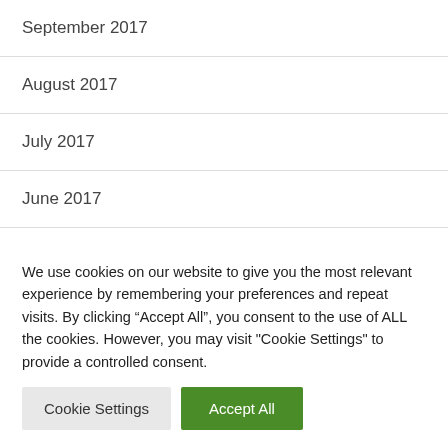September 2017
August 2017
July 2017
June 2017
May 2017
April 2017
We use cookies on our website to give you the most relevant experience by remembering your preferences and repeat visits. By clicking “Accept All”, you consent to the use of ALL the cookies. However, you may visit "Cookie Settings" to provide a controlled consent.